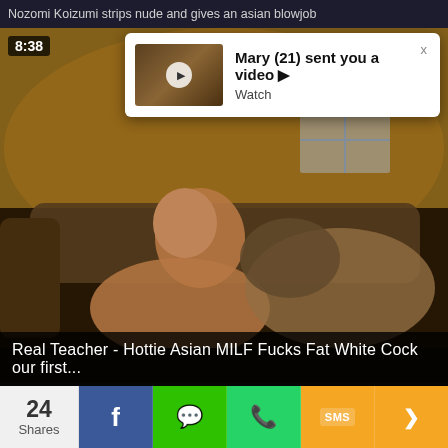Nozomi Koizumi strips nude and gives an asian blowjob
[Figure (screenshot): Video player showing two people on a couch in a living room, warm amber/orange lighting. Timestamp 8:38 visible in upper left of video.]
Mary (21) sent you a video ▶
Watch
Real Teacher - Hottie Asian MILF Fucks Fat White Cock our first...
24 Shares